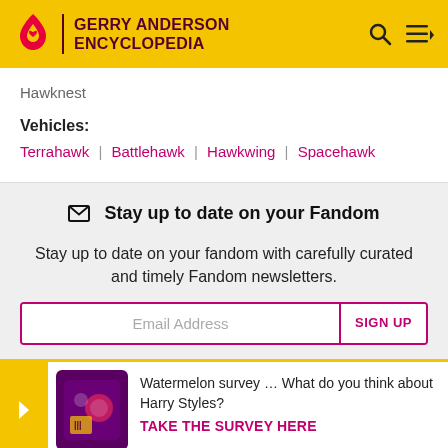GERRY ANDERSON ENCYCLOPEDIA
Hawknest
Vehicles:
Terrahawk | Battlehawk | Hawkwing | Spacehawk
Stay up to date on your Fandom
Stay up to date on your fandom with carefully curated and timely Fandom newsletters.
Email Address SIGN UP
Watermelon survey … What do you think about Harry Styles? TAKE THE SURVEY HERE